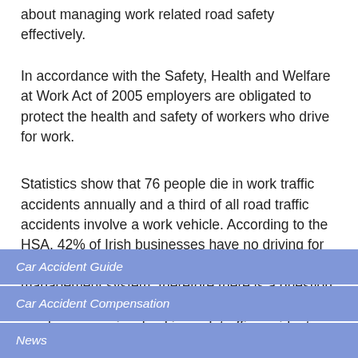about managing work related road safety effectively.
In accordance with the Safety, Health and Welfare at Work Act of 2005 employers are obligated to protect the health and safety of workers who drive for work.
Statistics show that 76 people die in work traffic accidents annually and a third of all road traffic accidents involve a work vehicle. According to the HSA, 42% of Irish businesses have no driving for work policy as part of their health and safety management system, therefore there is a question mark over the liability of employers when employees are involved in work traffic accidents.
Car Accident Guide
Car Accident Compensation
News